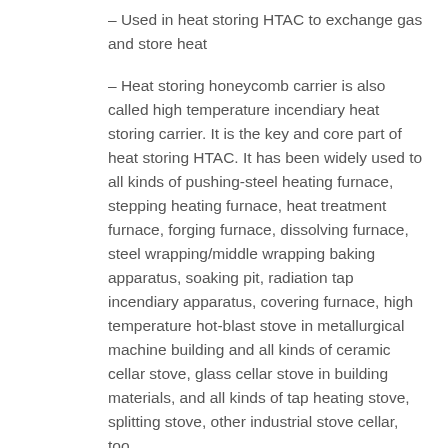– Used in heat storing HTAC to exchange gas and store heat
– Heat storing honeycomb carrier is also called high temperature incendiary heat storing carrier. It is the key and core part of heat storing HTAC. It has been widely used to all kinds of pushing-steel heating furnace, stepping heating furnace, heat treatment furnace, forging furnace, dissolving furnace, steel wrapping/middle wrapping baking apparatus, soaking pit, radiation tap incendiary apparatus, covering furnace, high temperature hot-blast stove in metallurgical machine building and all kinds of ceramic cellar stove, glass cellar stove in building materials, and all kinds of tap heating stove, splitting stove, other industrial stove cellar, too.
– Heat storing HTAC is a new concept incendiary